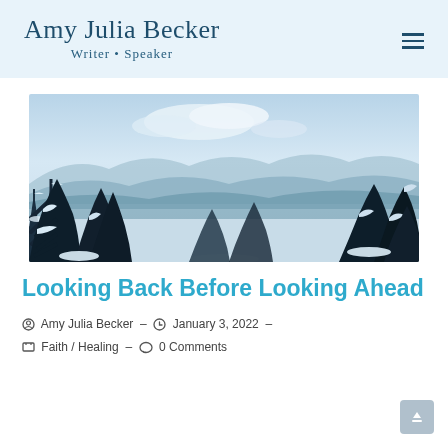Amy Julia Becker · Writer • Speaker
[Figure (photo): Winter landscape with snow-covered evergreen trees in the foreground and misty mountain ranges in the background under a partly cloudy sky.]
Looking Back Before Looking Ahead
Amy Julia Becker · January 3, 2022 · Faith / Healing · 0 Comments